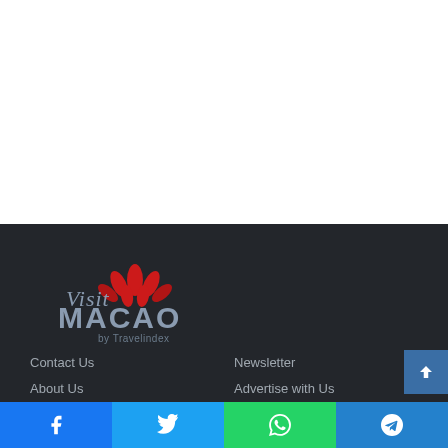[Figure (logo): Visit Macao by Travelindex logo with red lotus flower]
Contact Us
About Us
Terms of Service
Privacy Statement
Newsletter
Advertise with Us
Help/FAQ
Site Map
Facebook | Twitter | WhatsApp | Telegram